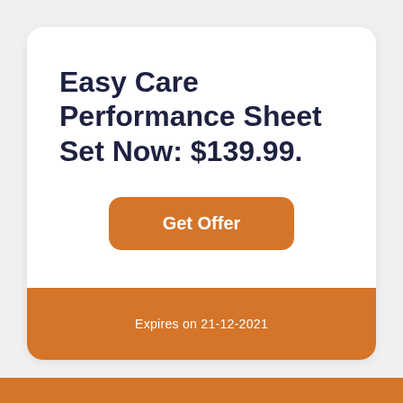Easy Care Performance Sheet Set Now: $139.99.
Get Offer
Expires on 21-12-2021